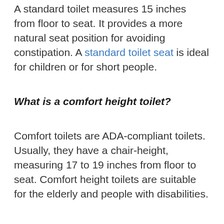A standard toilet measures 15 inches from floor to seat. It provides a more natural seat position for avoiding constipation. A standard toilet seat is ideal for children or for short people.
What is a comfort height toilet?
Comfort toilets are ADA-compliant toilets. Usually, they have a chair-height, measuring 17 to 19 inches from floor to seat. Comfort height toilets are suitable for the elderly and people with disabilities.
What is the best flushing rate?